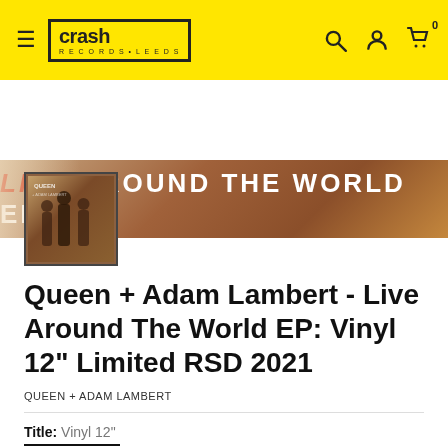Crash Records Leeds — navigation header with search, account, and cart icons
[Figure (photo): Banner image: Live Around The World EP text overlay on warm brown/sepia background]
[Figure (photo): Thumbnail of Queen + Adam Lambert - Live Around The World EP album cover showing band members]
Queen + Adam Lambert - Live Around The World EP: Vinyl 12" Limited RSD 2021
QUEEN + ADAM LAMBERT
Title: Vinyl 12"